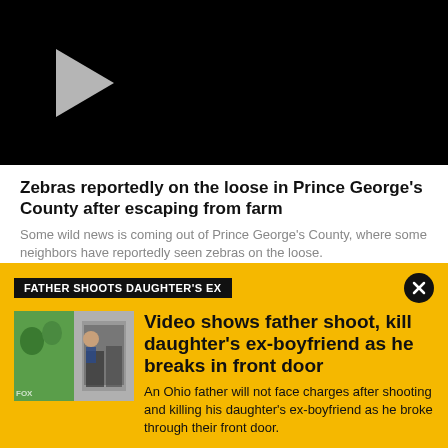[Figure (screenshot): Black video player with a gray play button triangle on the left side]
Zebras reportedly on the loose in Prince George's County after escaping from farm
Some wild news is coming out of Prince George's County, where some neighbors have reportedly seen zebras on the loose.
FATHER SHOOTS DAUGHTER'S EX
[Figure (screenshot): Thumbnail image showing a security camera or doorbell camera footage with outdoor and person views side by side]
Video shows father shoot, kill daughter's ex-boyfriend as he breaks in front door
An Ohio father will not face charges after shooting and killing his daughter's ex-boyfriend as he broke through their front door.